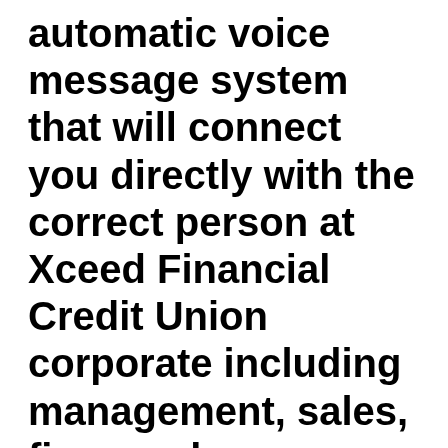automatic voice message system that will connect you directly with the correct person at Xceed Financial Credit Union corporate including management, sales, finance, human resources, marketing, Xceed Financial Credit Union customer service, support, operations